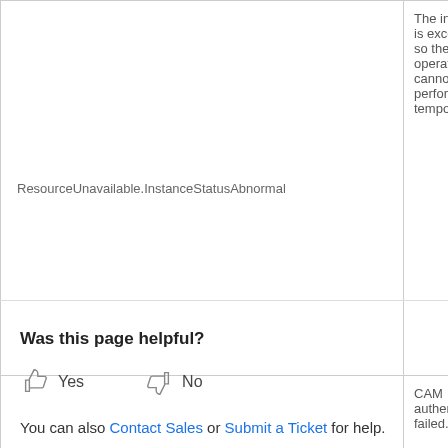| Error Code | Description |
| --- | --- |
| ResourceUnavailable.InstanceStatusAbnormal | The instance status is abnormal, so the operation cannot be performed temporarily. |
| UnauthorizedOperation.PermissionDenied | CAM authentication failed. |
Was this page helpful?
Yes   No
You can also Contact Sales or Submit a Ticket for help.